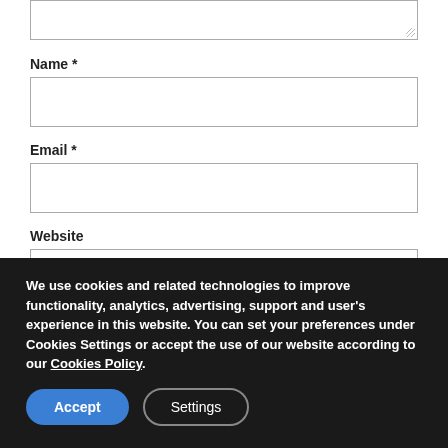[Figure (screenshot): Partial textarea input with resize handle at bottom-right corner]
Name *
[Figure (screenshot): Text input field for Name]
Email *
[Figure (screenshot): Text input field for Email]
Website
[Figure (screenshot): Text input field for Website (partially visible)]
We use cookies and related technologies to improve functionality, analytics, advertising, support and user's experience in this website. You can set your preferences under Cookies Settings or accept the use of our website according to our Cookies Policy.
Accept
Settings